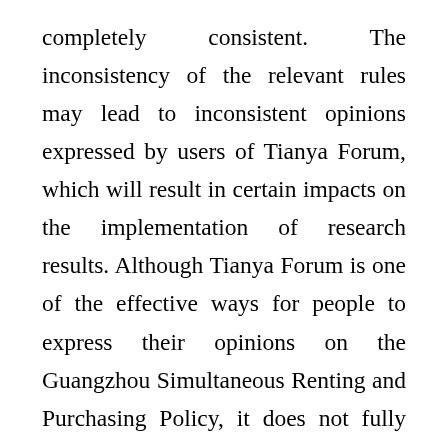completely consistent. The inconsistency of the relevant rules may lead to inconsistent opinions expressed by users of Tianya Forum, which will result in certain impacts on the implementation of research results. Although Tianya Forum is one of the effective ways for people to express their opinions on the Guangzhou Simultaneous Renting and Purchasing Policy, it does not fully represent the opinions of all residents. Therefore, the extensive sources of the original data of the research are still lacking. The coding of nodes depends largely on the cluster analysis with certain manual adjustments. It is necessary to rely on the coders' familiarity with the original